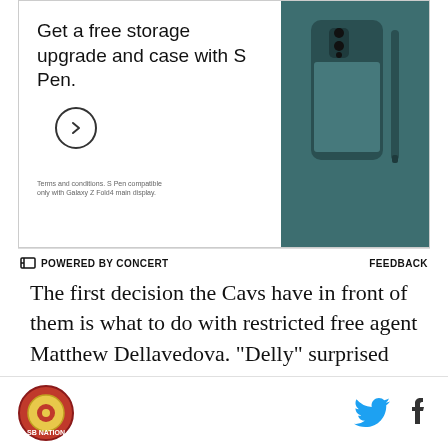[Figure (screenshot): Advertisement for Samsung Galaxy Z Fold featuring phone with S Pen. Text reads: 'Get a free storage upgrade and case with S Pen.' with a circular arrow CTA button and fine print. Phone image shown in teal/dark green color on right side. Bottom bar shows 'POWERED BY CONCERT' on left and 'FEEDBACK' on right.]
The first decision the Cavs have in front of them is what to do with restricted free agent Matthew Dellavedova. "Delly" surprised many this season by becoming a productive member of the roster after an underwhelming stint with the team in summer league. It seems fitting that in a season where nothing went according to plan, an undrafted point guard would end up carving a significant role on the team. But while
Site logo | Twitter icon | Facebook icon